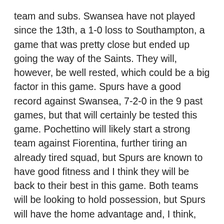team and subs. Swansea have not played since the 13th, a 1-0 loss to Southampton, a game that was pretty close but ended up going the way of the Saints. They will, however, be well rested, which could be a big factor in this game. Spurs have a good record against Swansea, 7-2-0 in the 9 past games, but that will certainly be tested this game. Pochettino will likely start a strong team against Fiorentina, further tiring an already tired squad, but Spurs are known to have good fitness and I think they will be back to their best in this game. Both teams will be looking to hold possession, but Spurs will have the home advantage and, I think, will be more successful at it, putting Swansea in an awkward position. Overall I think Swansea will put up a good fight and I think they will score, but I still see Spurs as favorites to take 3 points.